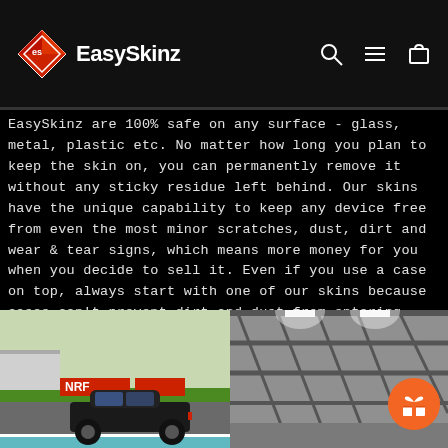EasySkinz
EasySkinz are 100% safe on any surface - glass, metal, plastic etc. No matter how long you plan to keep the skin on, you can permanently remove it without any sticky residue left behind. Our skins have the unique capability to keep any device free from even the most minor scratches, dust, dirt and wear & tear signs, which means more money for you when you decide to sell it. Even if you use a case on top, always start with one of our skins because cases can't prevent dirt and dust from entering, which is = a scratched surface.
[Figure (photo): Photo of a dark sedan car on a racing track with green grass and advertising banners visible]
[Figure (photo): Black and white photo of an indoor space with ceiling trusses and bright overhead lighting]